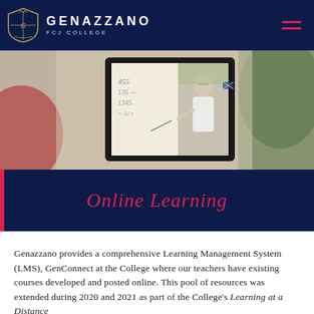GENAZZANO FCJ COLLEGE
[Figure (photo): Photo of a student viewing a laptop screen showing a teacher writing on a whiteboard in a classroom setting.]
Online Learning
Genazzano provides a comprehensive Learning Management System (LMS), GenConnect at the College where our teachers have existing courses developed and posted online. This pool of resources was extended during 2020 and 2021 as part of the College's Learning at a Distance